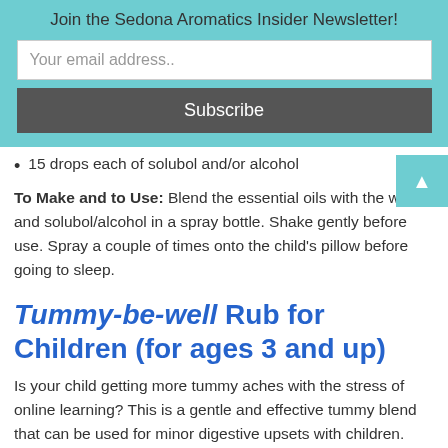Join the Sedona Aromatics Insider Newsletter!
Your email address..
Subscribe
15 drops each of solubol and/or alcohol
To Make and to Use: Blend the essential oils with the water and solubol/alcohol in a spray bottle. Shake gently before use. Spray a couple of times onto the child's pillow before going to sleep.
Tummy-be-well Rub for Children (for ages 3 and up)
Is your child getting more tummy aches with the stress of online learning? This is a gentle and effective tummy blend that can be used for minor digestive upsets with children.
Base: